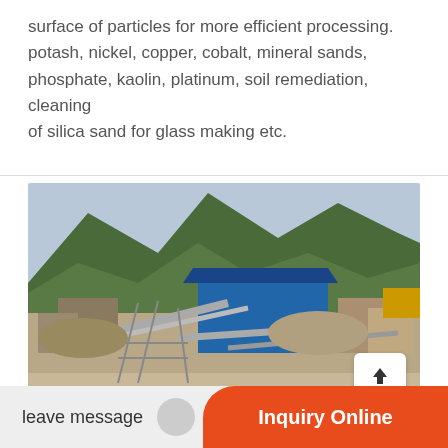surface of particles for more efficient processing. potash, nickel, copper, cobalt, mineral sands, phosphate, kaolin, platinum, soil remediation, cleaning of silica sand for glass making etc.
[Figure (photo): Aerial view of a mining or quarrying facility with industrial conveyor belts, storage areas, a large blue-roofed building, and green hills/mountains in the background.]
leave message
Inquiry Online